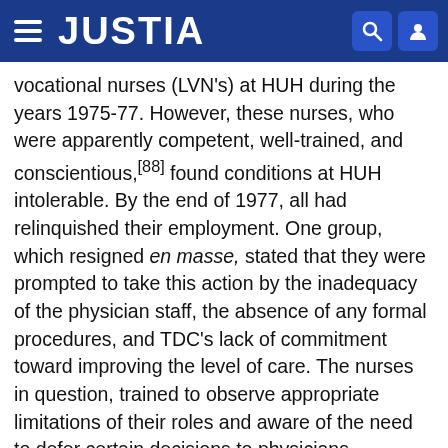JUSTIA
vocational nurses (LVN's) at HUH during the years 1975-77. However, these nurses, who were apparently competent, well-trained, and conscientious,[88] found conditions at HUH intolerable. By the end of 1977, all had relinquished their employment. One group, which resigned en masse, stated that they were prompted to take this action by the inadequacy of the physician staff, the absence of any formal procedures, and TDC's lack of commitment toward improving the level of care. The nurses in question, trained to observe appropriate limitations of their roles and aware of the need to defer certain decisions to physicians, experienced particular difficulty in dealing with the hospital administrator and the medical assistants (MA's). These functionaries did not share similar perceptions concerning the legitimate reach of the nurse's position, preferring instead that nurses and MA's perform tasks properly entrusted only